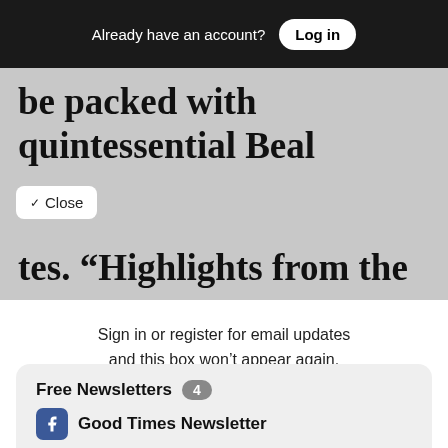Already have an account? Log in
be packed with quintessential Beal
tes. “Highlights from the
Sign in or register for email updates and this box won’t appear again. We’re grateful for your support.
By registering you confirm you are 21+.
Free Newsletters 4
Good Times Newsletter